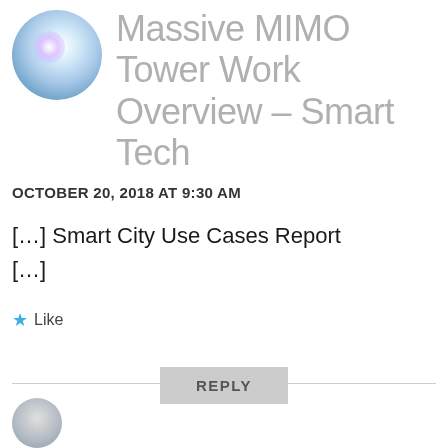[Figure (photo): Circular avatar thumbnail showing a cell tower with lens flare/glare, blue sky tones]
Massive MIMO Tower Work Overview – Smart Tech
OCTOBER 20, 2018 AT 9:30 AM
[…] Smart City Use Cases Report […]
Like
REPLY